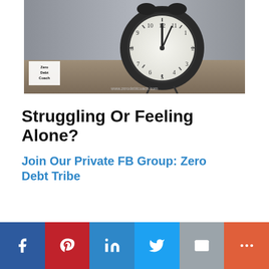[Figure (photo): An alarm clock showing nearly midnight/noon on a wooden surface, with a watermark 'Zero Debt Coach' logo in the lower left and 'www.zerodebtcoach.com' text at the bottom center. Background is grey/blurred.]
Struggling Or Feeling Alone?
Join Our Private FB Group: Zero Debt Tribe